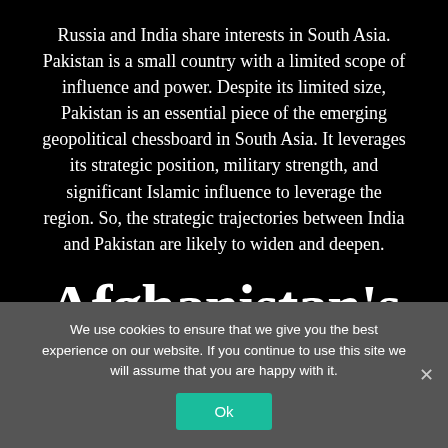Russia and India share interests in South Asia. Pakistan is a small country with a limited scope of influence and power. Despite its limited size, Pakistan is an essential piece of the emerging geopolitical chessboard in South Asia. It leverages its strategic position, military strength, and significant Islamic influence to leverage the region. So, the strategic trajectories between India and Pakistan are likely to widen and deepen.
Afghanistan's
We use cookies to ensure that we give you the best experience on our website. If you continue to use this site we will assume that you are happy with it.